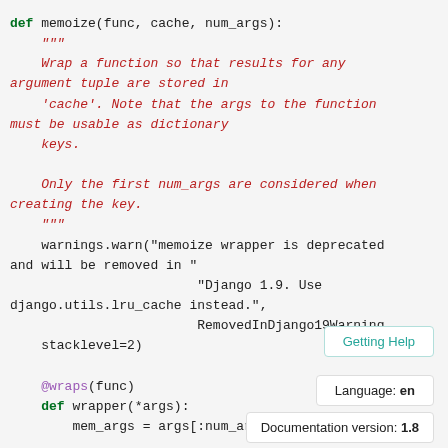def memoize(func, cache, num_args):
    """
    Wrap a function so that results for any argument tuple are stored in
    'cache'. Note that the args to the function must be usable as dictionary
    keys.

    Only the first num_args are considered when creating the key.
    """
    warnings.warn("memoize wrapper is deprecated and will be removed in "
                        "Django 1.9. Use django.utils.lru_cache instead.",
                        RemovedInDjango19Warning,
    stacklevel=2)

        @wraps(func)
        def wrapper(*args):
            mem_args = args[:num_args]
Getting Help
Language: en
Documentation version: 1.8